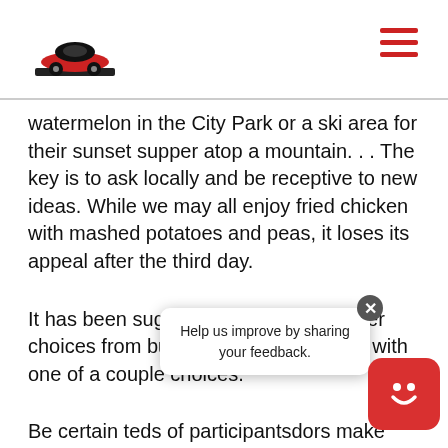[Logo: car icon] [Hamburger menu]
watermelon in the City Park or a ski area for their sunset supper atop a mountain. . . The key is to ask locally and be receptive to new ideas. While we may all enjoy fried chicken with mashed potatoes and peas, it loses its appeal after the third day.
It has been suggested to vary the dinner choices from buffet and plated dinners with one of a couple choices.
Be certain t[o inquire about di]eds of participants[... dietary restri]dors[...] make arran[gements for them.]